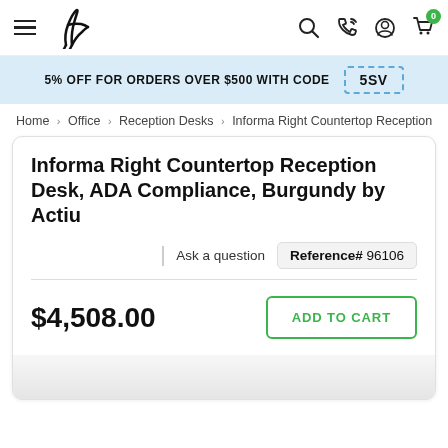[Figure (logo): Chair silhouette logo and hamburger menu icon]
5% OFF FOR ORDERS OVER $500 WITH CODE  5SV
Home > Office > Reception Desks > Informa Right Countertop Reception
Informa Right Countertop Reception Desk, ADA Compliance, Burgundy by Actiu
Ask a question  Reference# 96106
$4,508.00
ADD TO CART